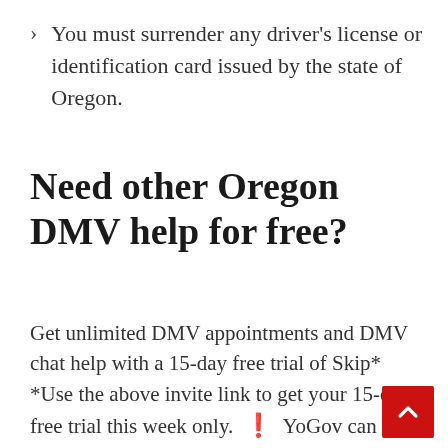You must surrender any driver's license or identification card issued by the state of Oregon.
Need other Oregon DMV help for free?
Get unlimited DMV appointments and DMV chat help with a 15-day free trial of Skip* *Use the above invite link to get your 15-day free trial this week only.  ❗  YoGov can assist you in obtaining your driving license in the United States. Book a car and driver with Driving Test Concierge to assist you in passing your road test.